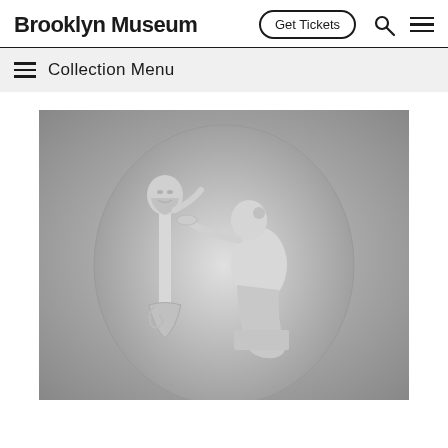Brooklyn Museum
Get Tickets
[Figure (screenshot): Brooklyn Museum website screenshot showing header with logo, Get Tickets button, search icon, hamburger menu, a Collection Menu bar, and a black-and-white photograph of a classical oval relief sculpture depicting a seated female figure facing a herm (bearded male head on a post), with a shield at the base.]